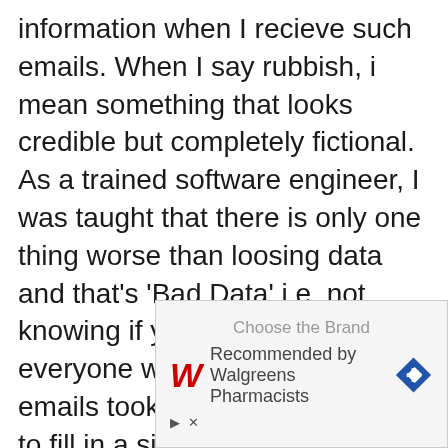information when I recieve such emails. When I say rubbish, i mean something that looks credible but completely fictional. As a trained software engineer, I was taught that there is only one thing worse than loosing data and that's 'Bad Data' i.e. not knowing if your data is good. If everyone who received such emails took it upon themselves to fill in a single entry of rubbish it might make the task
[Figure (other): Advertisement banner for Walgreens Pharmacists. Text reads: 'Choose the Brand Recommended by Walgreens Pharmacists' with Walgreens logo and a blue diamond navigation arrow icon.]